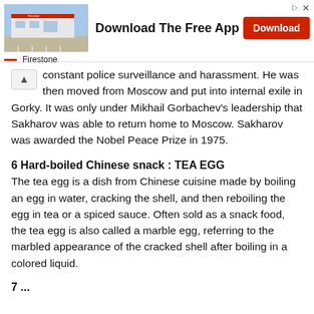[Figure (infographic): Advertisement banner for Firestone showing a store photo, 'Download The Free App' headline, a red Download button, and Firestone logo with red dash icon.]
constant police surveillance and harassment. He was then moved from Moscow and put into internal exile in Gorky. It was only under Mikhail Gorbachev's leadership that Sakharov was able to return home to Moscow. Sakharov was awarded the Nobel Peace Prize in 1975.
6 Hard-boiled Chinese snack : TEA EGG
The tea egg is a dish from Chinese cuisine made by boiling an egg in water, cracking the shell, and then reboiling the egg in tea or a spiced sauce. Often sold as a snack food, the tea egg is also called a marble egg, referring to the marbled appearance of the cracked shell after boiling in a colored liquid.
7 ...